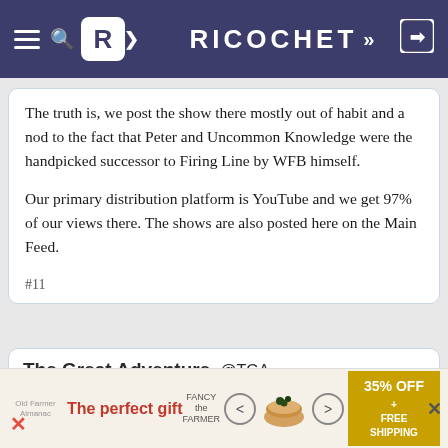RICOCHET
The truth is, we post the show there mostly out of habit and a nod to the fact that Peter and Uncommon Knowledge were the handpicked successor to Firing Line by WFB himself.
Our primary distribution platform is YouTube and we get 97% of our views there. The shows are also posted here on the Main Feed.
#11
The Great Adventure @TGA
3:17 PM PDT · Mar 20, 2022
[Figure (screenshot): Advertisement banner: 'The perfect gift' with food bowl image and '35% OFF + FREE SHIPPING' label]